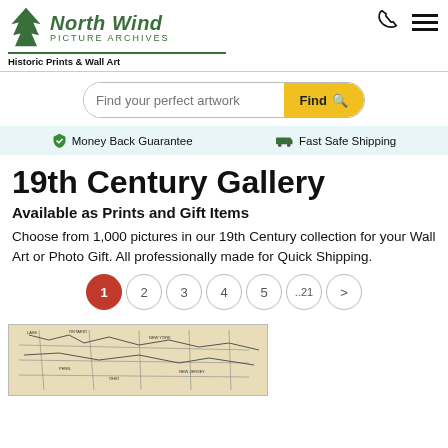North Wind PICTURE ARCHIVES — Historic Prints & Wall Art
[Figure (logo): North Wind Picture Archives logo with tree icon and tagline Historic Prints & Wall Art]
Find your perfect artwork
Money Back Guarantee   Fast Safe Shipping
19th Century Gallery
Available as Prints and Gift Items
Choose from 1,000 pictures in our 19th Century collection for your Wall Art or Photo Gift. All professionally made for Quick Shipping.
1  2  3  4  5  ..21  >
[Figure (map): Partial view of a historical map with geographic lines and labels]